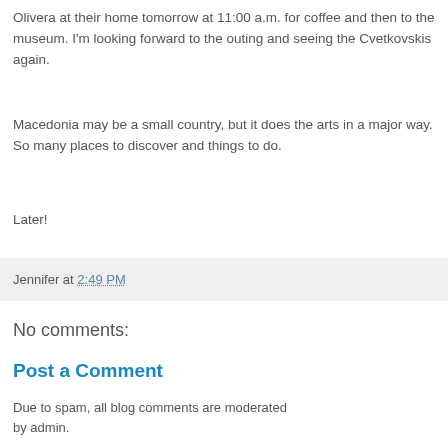Olivera at their home tomorrow at 11:00 a.m. for coffee and then to the museum. I'm looking forward to the outing and seeing the Cvetkovskis again.
Macedonia may be a small country, but it does the arts in a major way. So many places to discover and things to do.
Later!
Jennifer at 2:49 PM
No comments:
Post a Comment
Due to spam, all blog comments are moderated by admin.